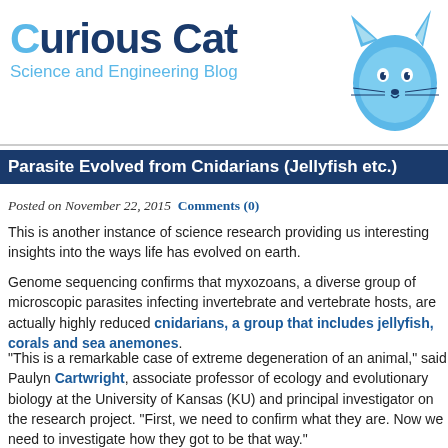[Figure (logo): Curious Cat Science and Engineering Blog logo with blue cat illustration]
Parasite Evolved from Cnidarians (Jellyfish etc.)
Posted on November 22, 2015  Comments (0)
This is another instance of science research providing us interesting insights into the ways life has evolved on earth.
Genome sequencing confirms that myxozoans, a diverse group of microscopic parasites infecting invertebrate and vertebrate hosts, are actually highly reduced cnidarians, a group that includes jellyfish, corals and sea anemones.
“This is a remarkable case of extreme degeneration of an animal,” said Paulyn Cartwright, associate professor of ecology and evolutionary biology at the University of Kansas (KU) and principal investigator on the research project. “First, we need to confirm what they are. Now we need to investigate how they got to be that way.”